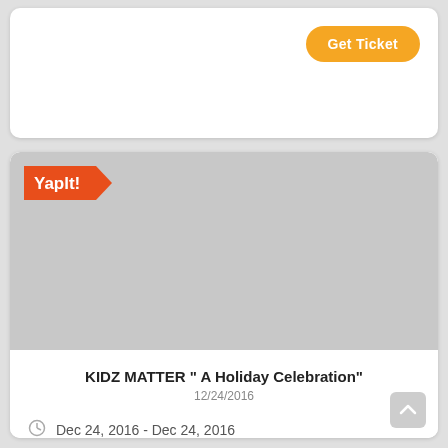[Figure (screenshot): Top white card area with a 'Get Ticket' orange button in the upper right corner]
Get Ticket
[Figure (photo): Gray placeholder image area with Yapit! logo badge in the upper left corner]
KIDZ MATTER " A Holiday Celebration"
12/24/2016
Dec 24, 2016 - Dec 24, 2016
LYFE restaurant & Lounge 6035 Peachtree Road Suite C...